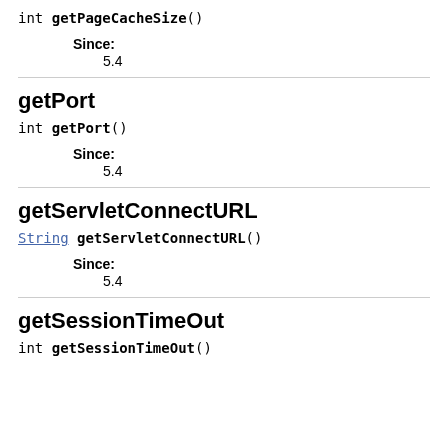int getPageCacheSize()
Since:
5.4
getPort
int getPort()
Since:
5.4
getServletConnectURL
String getServletConnectURL()
Since:
5.4
getSessionTimeOut
int getSessionTimeOut()